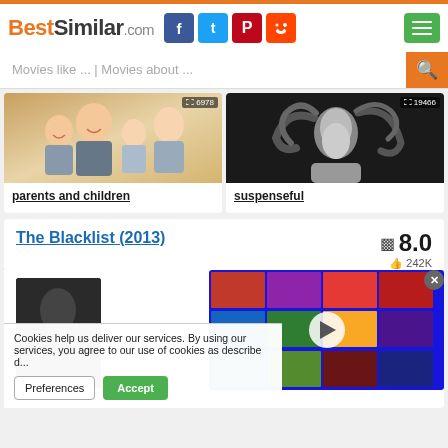[Figure (screenshot): BestSimilar.com website header with logo, social media icons (Facebook, Twitter, Pinterest, Reddit), and green hamburger menu button]
[Figure (screenshot): Search bar with placeholder 'Movies like ... | Movies about ...' and orange search button]
[Figure (photo): Category card image showing a family with parents and children smiling, count badge showing 6978]
parents and children
[Figure (photo): Category card image showing a woman with flowing hair in black and white, count badge showing 19466]
suspenseful
The Blacklist (2013)
8.0
242K
[Figure (screenshot): Video overlay showing colorful movie tiles mosaic with a play button in the center, and a close X button]
Cookies help us deliver our services. By us... you agree to our use of cookies as describe...
Preferences
Accept